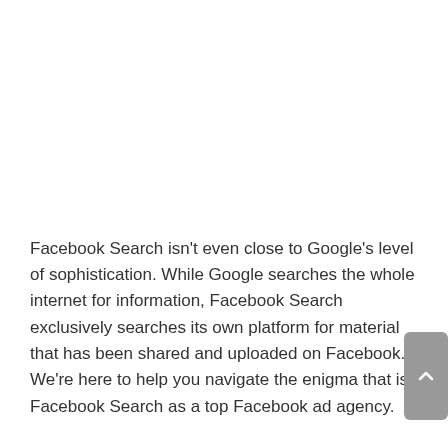Facebook Search isn't even close to Google's level of sophistication. While Google searches the whole internet for information, Facebook Search exclusively searches its own platform for material that has been shared and uploaded on Facebook. We're here to help you navigate the enigma that is Facebook Search as a top Facebook ad agency.